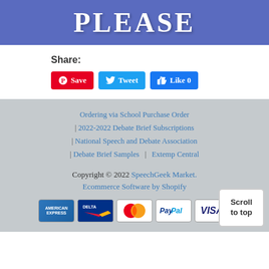[Figure (illustration): Blue banner with large white bold text 'PLEASE' on a purple/blue background]
Share:
[Figure (infographic): Social share buttons: Pinterest Save (red), Tweet (blue), Like 0 (Facebook blue)]
Ordering via School Purchase Order | 2022-2022 Debate Brief Subscriptions | National Speech and Debate Association | Debate Brief Samples | Extemp Central
Copyright © 2022 SpeechGeek Market. Ecommerce Software by Shopify
[Figure (infographic): Payment method icons: American Express, Delta, MasterCard, PayPal, VISA]
[Figure (other): Scroll to top button]